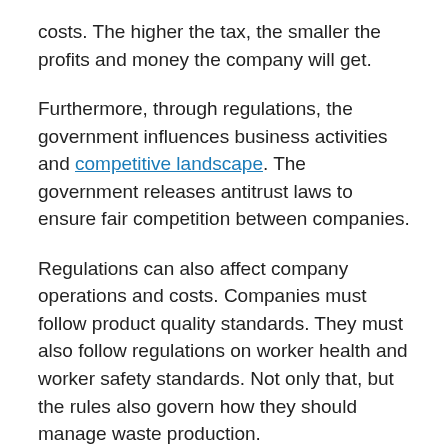costs. The higher the tax, the smaller the profits and money the company will get.
Furthermore, through regulations, the government influences business activities and competitive landscape. The government releases antitrust laws to ensure fair competition between companies.
Regulations can also affect company operations and costs. Companies must follow product quality standards. They must also follow regulations on worker health and worker safety standards. Not only that, but the rules also govern how they should manage waste production.
Related